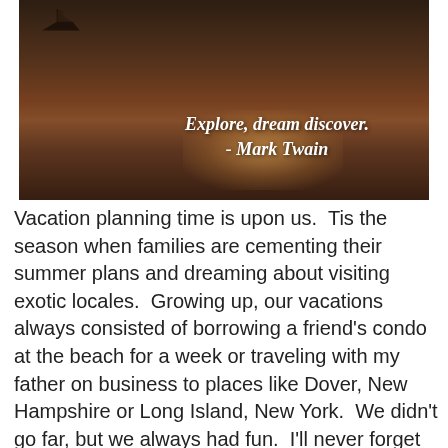[Figure (photo): Sunset over water with a boat silhouette and an overlaid italic quote: 'Explore, dream discover. - Mark Twain' in white text on a dark water/sky background with golden shimmer reflections.]
Vacation planning time is upon us.  Tis the season when families are cementing their summer plans and dreaming about visiting exotic locales.  Growing up, our vacations always consisted of borrowing a friend's condo at the beach for a week or traveling with my father on business to places like Dover, New Hampshire or Long Island, New York.  We didn't go far, but we always had fun.  I'll never forget the time we stayed at a motel outside of Williamsburg.  I still remember thinking that it had to be the grandest hotel in the world with its strawberry shaped pool and vending machines right in our hallway.  In my mind, it was truly a magical vacation that included steps in Colonial